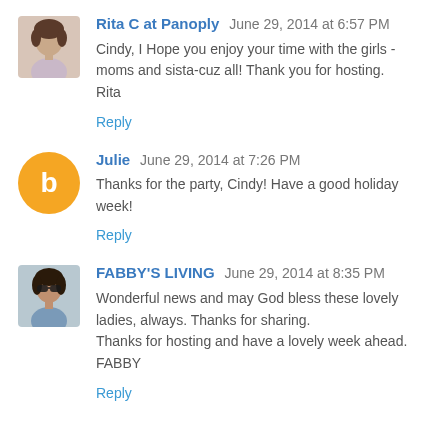[Figure (photo): Avatar photo of Rita C - woman with short dark hair]
Rita C at Panoply June 29, 2014 at 6:57 PM
Cindy, I Hope you enjoy your time with the girls - moms and sista-cuz all! Thank you for hosting.
Rita
Reply
[Figure (illustration): Blogger default orange circle avatar with white B letter]
Julie June 29, 2014 at 7:26 PM
Thanks for the party, Cindy! Have a good holiday week!
Reply
[Figure (photo): Avatar photo of Fabby - woman with dark hair and sunglasses]
FABBY'S LIVING June 29, 2014 at 8:35 PM
Wonderful news and may God bless these lovely ladies, always. Thanks for sharing.
Thanks for hosting and have a lovely week ahead.
FABBY
Reply